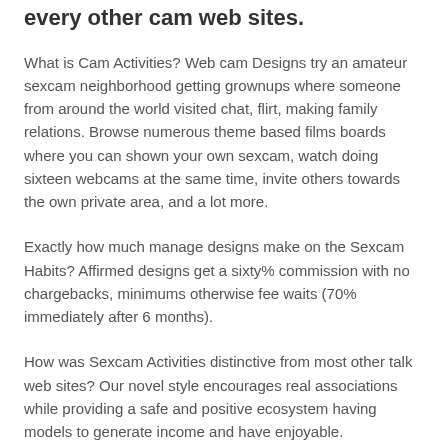every other cam web sites.
What is Cam Activities? Web cam Designs try an amateur sexcam neighborhood getting grownups where someone from around the world visited chat, flirt, making family relations. Browse numerous theme based films boards where you can shown your own sexcam, watch doing sixteen webcams at the same time, invite others towards the own private area, and a lot more.
Exactly how much manage designs make on the Sexcam Habits? Affirmed designs get a sixty% commission with no chargebacks, minimums otherwise fee waits (70% immediately after 6 months).
How was Sexcam Activities distinctive from most other talk web sites? Our novel style encourages real associations while providing a safe and positive ecosystem having models to generate income and have enjoyable.